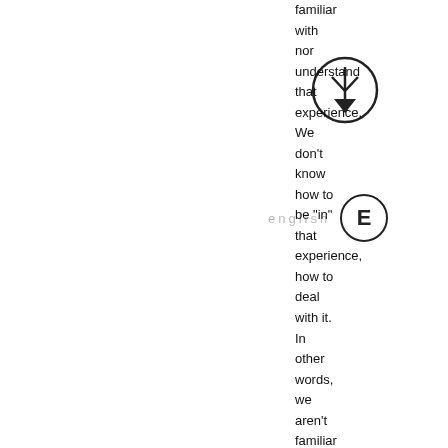[Figure (logo): Circle logo with downward arrow and V shape inside]
[Figure (logo): Circle logo with letter E inside, next to the word 'english' in light gray spaced letters]
familiar with nor understand that experience. We don't know how to be “in” that experience, how to deal with it. In other words, we aren't familiar with it, nor do we understand it enough anymore. We don't know